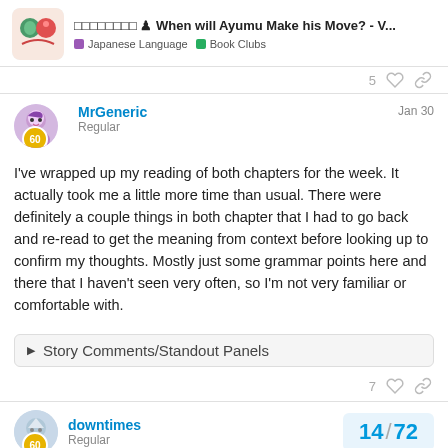🟥🟦🟩🟪🟫🟨🟧🟥 ♟ When will Ayumu Make his Move? - V... | Japanese Language | Book Clubs
5
MrGeneric
Regular
Jan 30
60
I've wrapped up my reading of both chapters for the week. It actually took me a little more time than usual. There were definitely a couple things in both chapter that I had to go back and re-read to get the meaning from context before looking up to confirm my thoughts. Mostly just some grammar points here and there that I haven't seen very often, so I'm not very familiar or comfortable with.
▶  Story Comments/Standout Panels
7
downtimes
Regular
14 / 72